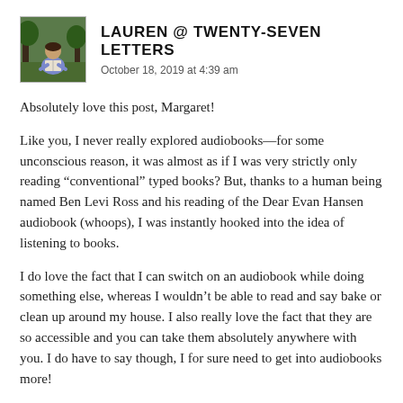LAUREN @ TWENTY-SEVEN LETTERS
October 18, 2019 at 4:39 am
Absolutely love this post, Margaret!
Like you, I never really explored audiobooks—for some unconscious reason, it was almost as if I was very strictly only reading “conventional” typed books? But, thanks to a human being named Ben Levi Ross and his reading of the Dear Evan Hansen audiobook (whoops), I was instantly hooked into the idea of listening to books.
I do love the fact that I can switch on an audiobook while doing something else, whereas I wouldn’t be able to read and say bake or clean up around my house. I also really love the fact that they are so accessible and you can take them absolutely anywhere with you. I do have to say though, I for sure need to get into audiobooks more!